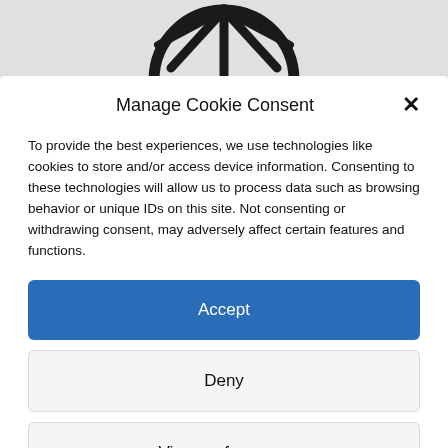[Figure (logo): Semi-circular dome/umbrella logo icon in black]
Manage Cookie Consent
To provide the best experiences, we use technologies like cookies to store and/or access device information. Consenting to these technologies will allow us to process data such as browsing behavior or unique IDs on this site. Not consenting or withdrawing consent, may adversely affect certain features and functions.
Accept
Deny
View preferences
Cookie policy   Privacy Statement   Impressum